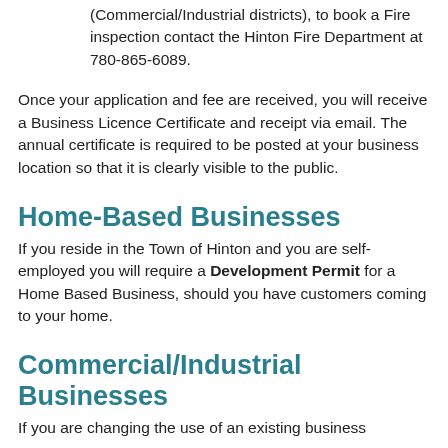(Commercial/Industrial districts), to book a Fire inspection contact the Hinton Fire Department at 780-865-6089.
Once your application and fee are received, you will receive a Business Licence Certificate and receipt via email. The annual certificate is required to be posted at your business location so that it is clearly visible to the public.
Home-Based Businesses
If you reside in the Town of Hinton and you are self-employed you will require a Development Permit for a Home Based Business, should you have customers coming to your home.
Commercial/Industrial Businesses
If you are changing the use of an existing business